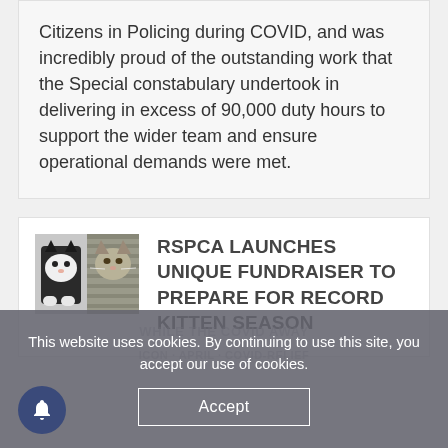Citizens in Policing during COVID, and was incredibly proud of the outstanding work that the Special constabulary undertook in delivering in excess of 90,000 duty hours to support the wider team and ensure operational demands were met.
[Figure (photo): Photo of two cats — a black-and-white cat on the left and a tabby cat on the right]
RSPCA LAUNCHES UNIQUE FUNDRAISER TO PREPARE FOR RECORD KITTEN SEASON
This website uses cookies. By continuing to use this site, you accept our use of cookies.